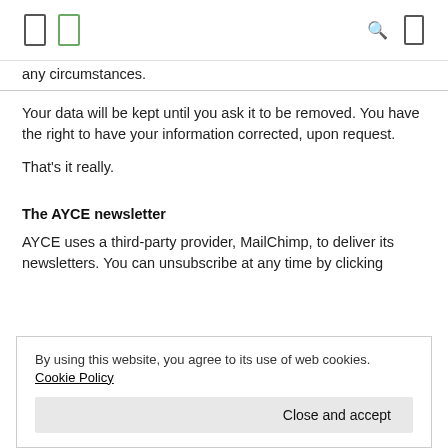[navigation bar with icons]
any circumstances.
Your data will be kept until you ask it to be removed. You have the right to have your information corrected, upon request.
That's it really.
The AYCE newsletter
AYCE uses a third-party provider, MailChimp, to deliver its newsletters. You can unsubscribe at any time by clicking
By using this website, you agree to its use of web cookies. Cookie Policy
Close and accept